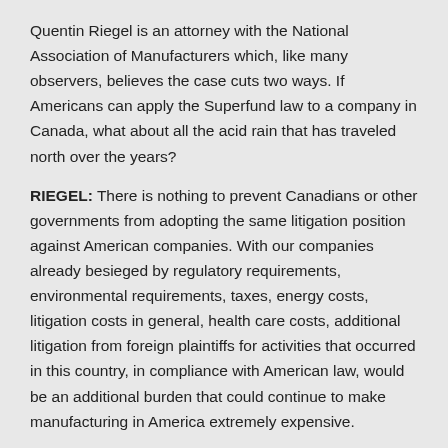Quentin Riegel is an attorney with the National Association of Manufacturers which, like many observers, believes the case cuts two ways. If Americans can apply the Superfund law to a company in Canada, what about all the acid rain that has traveled north over the years?
RIEGEL: There is nothing to prevent Canadians or other governments from adopting the same litigation position against American companies. With our companies already besieged by regulatory requirements, environmental requirements, taxes, energy costs, litigation costs in general, health care costs, additional litigation from foreign plaintiffs for activities that occurred in this country, in compliance with American law, would be an additional burden that could continue to make manufacturing in America extremely expensive.